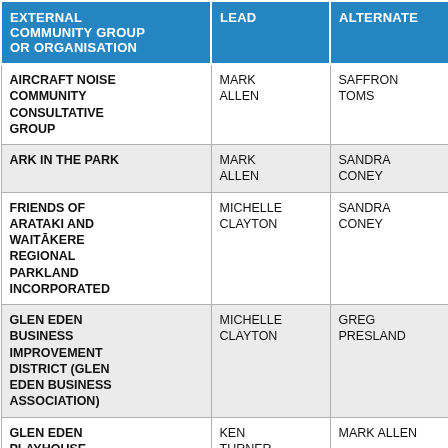| EXTERNAL COMMUNITY GROUP OR ORGANISATION | LEAD | ALTERNATE |
| --- | --- | --- |
| AIRCRAFT NOISE COMMUNITY CONSULTATIVE GROUP | MARK ALLEN | SAFFRON TOMS |
| ARK IN THE PARK | MARK ALLEN | SANDRA CONEY |
| FRIENDS OF ARATAKI AND WAITĀKERE REGIONAL PARKLAND INCORPORATED | MICHELLE CLAYTON | SANDRA CONEY |
| GLEN EDEN BUSINESS IMPROVEMENT DISTRICT (GLEN EDEN BUSINESS ASSOCIATION) | MICHELLE CLAYTON | GREG PRESLAND |
| GLEN EDEN PLAYHOUSE THEATRE TRUST | KEN TURNER | MARK ALLEN |
| TE URU WAITĀKERE | MARK | SAFFRON |